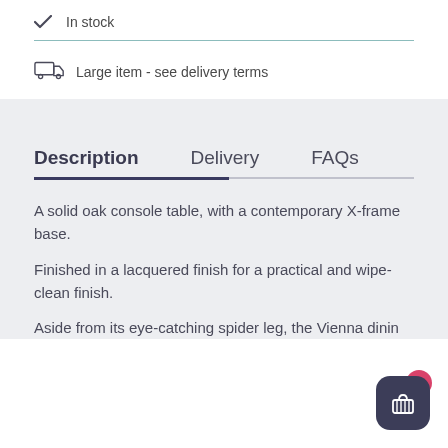✓  In stock
Large item - see delivery terms
Description
Delivery
FAQs
A solid oak console table, with a contemporary X-frame base.
Finished in a lacquered finish for a practical and wipe-clean finish.
Aside from its eye-catching spider leg, the Vienna dining table is ei...